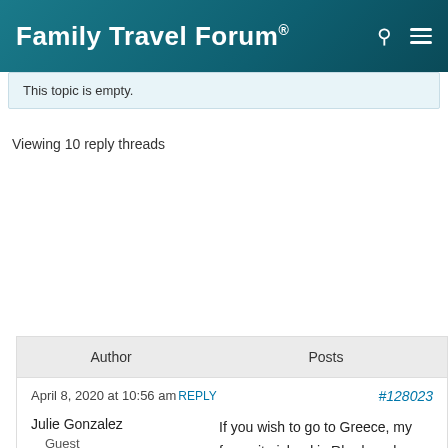Family Travel Forum®
This topic is empty.
Viewing 10 reply threads
| Author | Posts |
| --- | --- |
| April 8, 2020 at 10:56 am REPLY | #128023 |
| Julie Gonzalez
Guest | If you wish to go to Greece, my favourite island is Rhodes where you can enjoy the sun and the beach at the hotel but also visit little cities around, I've been to Lindos which is a beautiful city with an acropolis. |
| October 22, 2019 at 5:57 pm REPLY | #114030 |